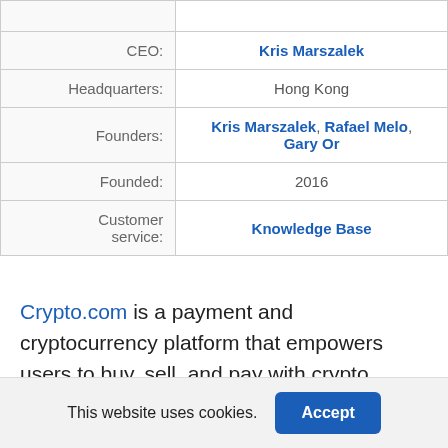| Field | Value |
| --- | --- |
| CEO: | Kris Marszalek |
| Headquarters: | Hong Kong |
| Founders: | Kris Marszalek, Rafael Melo, Gary Or |
| Founded: | 2016 |
| Customer service: | Knowledge Base |
Crypto.com is a payment and cryptocurrency platform that empowers users to buy, sell, and pay with crypto.
This website uses cookies.